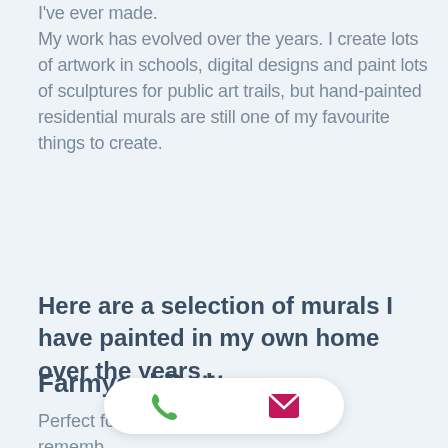I've ever made.
My work has evolved over the years. I create lots of artwork in schools, digital designs and paint lots of sculptures for public art trails, but hand-painted residential murals are still one of my favourite things to create.
Here are a selection of murals I have painted in my own home over the years…
Farmyard Bedroom
Perfect fo… rememb… daughter was to move into her 'big